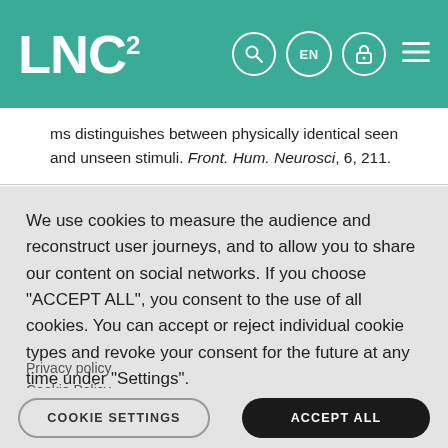LNC²
ms distinguishes between physically identical seen and unseen stimuli. Front. Hum. Neurosci, 6, 211.
We use cookies to measure the audience and reconstruct user journeys, and to allow you to share our content on social networks. If you choose "ACCEPT ALL", you consent to the use of all cookies. You can accept or reject individual cookie types and revoke your consent for the future at any time under "Settings".
Privacy policy
Cookie Policy